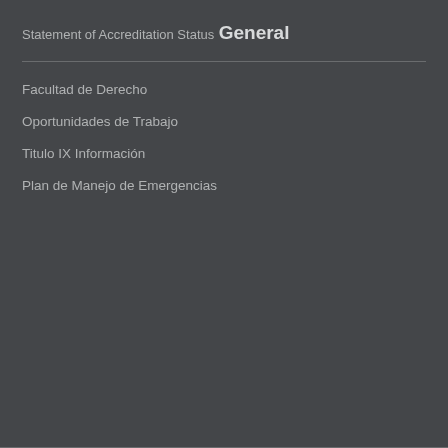Statement of Accreditation Status
General
Facultad de Derecho
Oportunidades de Trabajo
Titulo IX Información
Plan de Manejo de Emergencias